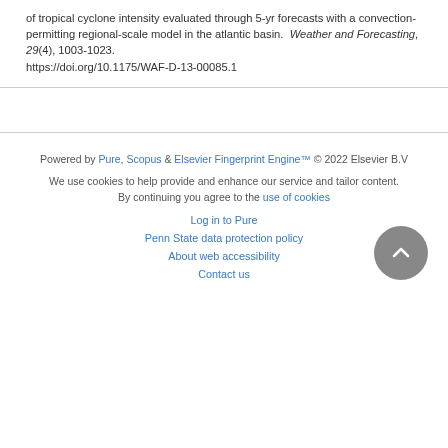of tropical cyclone intensity evaluated through 5-yr forecasts with a convection-permitting regional-scale model in the atlantic basin. Weather and Forecasting, 29(4), 1003-1023. https://doi.org/10.1175/WAF-D-13-00085.1
Powered by Pure, Scopus & Elsevier Fingerprint Engine™ © 2022 Elsevier B.V
We use cookies to help provide and enhance our service and tailor content. By continuing you agree to the use of cookies
Log in to Pure
Penn State data protection policy
About web accessibility
Contact us